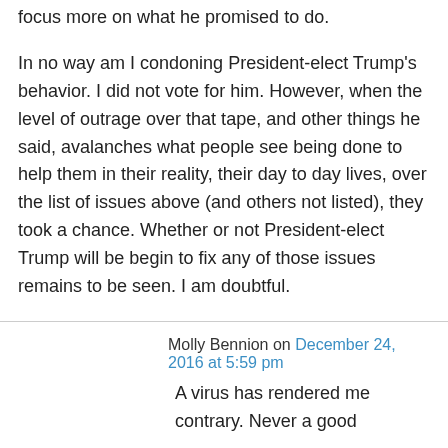focus more on what he promised to do.

In no way am I condoning President-elect Trump's behavior. I did not vote for him. However, when the level of outrage over that tape, and other things he said, avalanches what people see being done to help them in their reality, their day to day lives, over the list of issues above (and others not listed), they took a chance. Whether or not President-elect Trump will be begin to fix any of those issues remains to be seen. I am doubtful.
Molly Bennion on December 24, 2016 at 5:59 pm
A virus has rendered me contrary. Never a good